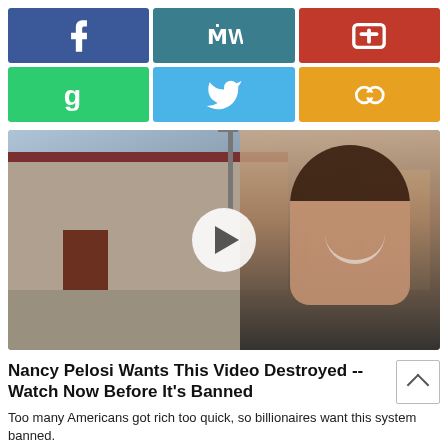[Figure (infographic): Social media sharing buttons grid: Facebook (blue), MeWe (teal), Parler (red), Gab (green), Twitter (light blue), Gettr (yellow/gold)]
[Figure (photo): A woman smiling outdoors near an industrial building, with a video play button overlay in the center]
Nancy Pelosi Wants This Video Destroyed -- Watch Now Before It's Banned
Too many Americans got rich too quick, so billionaires want this system banned.